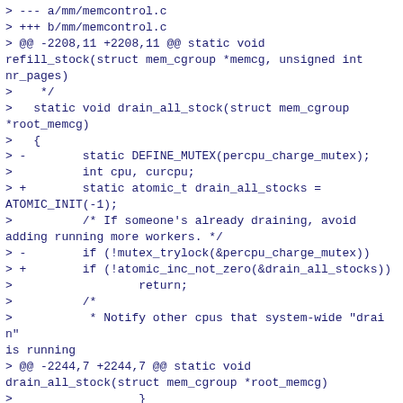> --- a/mm/memcontrol.c
> +++ b/mm/memcontrol.c
> @@ -2208,11 +2208,11 @@ static void refill_stock(struct mem_cgroup *memcg, unsigned int nr_pages)
>    */
>   static void drain_all_stock(struct mem_cgroup *root_memcg)
>   {
> -        static DEFINE_MUTEX(percpu_charge_mutex);
>          int cpu, curcpu;
> +        static atomic_t drain_all_stocks = ATOMIC_INIT(-1);
>          /* If someone's already draining, avoid adding running more workers. */
> -        if (!mutex_trylock(&percpu_charge_mutex))
> +        if (!atomic_inc_not_zero(&drain_all_stocks))
>                  return;
>          /*
>           * Notify other cpus that system-wide "drain" is running
> @@ -2244,7 +2244,7 @@ static void drain_all_stock(struct mem_cgroup *root_memcg)
>                  }
>          }
>          put_cpu();
> -        mutex_unlock(&percpu_charge_mutex);
> +        atomic_dec(&drain_all_stocks);
Yes this would work. I would just